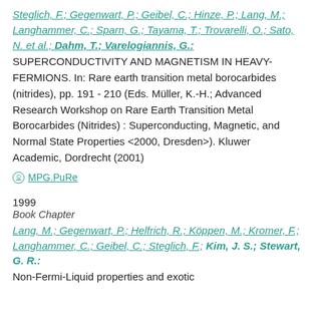Steglich, F.; Gegenwart, P.; Geibel, C.; Hinze, P.; Lang, M.; Langhammer, C.; Sparn, G.; Tayama, T.; Trovarelli, O.; Sato, N. et al.; Dahm, T.; Varelogiannis, G.: SUPERCONDUCTIVITY AND MAGNETISM IN HEAVY-FERMIONS. In: Rare earth transition metal borocarbides (nitrides), pp. 191 - 210 (Eds. Müller, K.-H.; Advanced Research Workshop on Rare Earth Transition Metal Borocarbides (Nitrides) : Superconducting, Magnetic, and Normal State Properties <2000, Dresden>). Kluwer Academic, Dordrecht (2001)
MPG.PuRe
1999
Book Chapter
Lang, M.; Gegenwart, P.; Helfrich, R.; Köppen, M.; Kromer, F.; Langhammer, C.; Geibel, C.; Steglich, F.; Kim, J. S.; Stewart, G. R.: Non-Fermi-Liquid properties and exotic